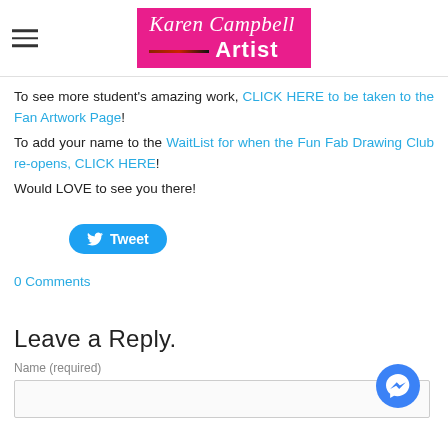Karen Campbell Artist
To see more student's amazing work, CLICK HERE to be taken to the Fan Artwork Page! To add your name to the WaitList for when the Fun Fab Drawing Club re-opens, CLICK HERE! Would LOVE to see you there!
[Figure (other): Tweet button with Twitter bird icon]
0 Comments
Leave a Reply.
Name (required)
[Figure (other): Name input text field with Facebook Messenger bubble icon in bottom right corner]